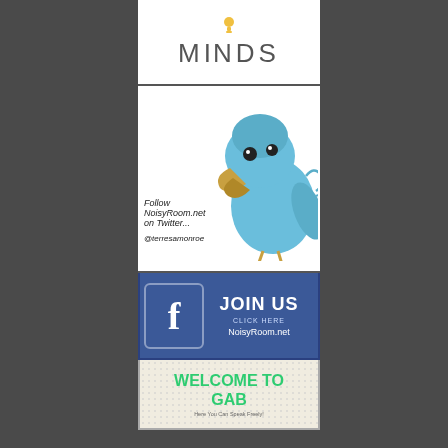[Figure (logo): Minds.com logo: lightbulb icon above the word MINDS in gray uppercase letters on white background]
[Figure (illustration): Cartoon blue Twitter-style bird with large beak looking grumpy, with text: Follow NoisyRoom.net on Twitter... @terresamonroe]
[Figure (infographic): Facebook JOIN US banner: Facebook 'f' logo icon on left, 'JOIN US' text in white, 'CLICK HERE' below, 'NoisyRoom.net' at bottom, blue background]
[Figure (infographic): WELCOME TO GAB banner in green text on dotted light background, tagline: Here You Can Speak Freely!]